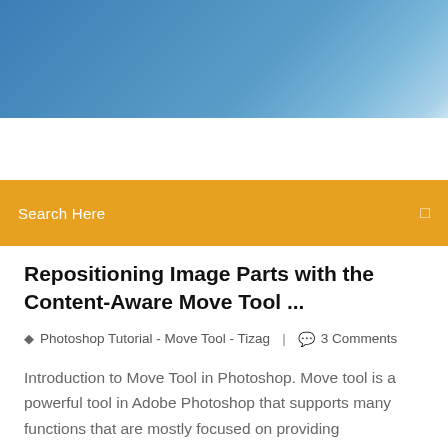[Figure (photo): Blue sky gradient header banner]
Search Here
Repositioning Image Parts with the Content-Aware Move Tool ...
Photoshop Tutorial - Move Tool - Tizag  |  3 Comments
Introduction to Move Tool in Photoshop. Move tool is a powerful tool in Adobe Photoshop that supports many functions that are mostly focused on providing move/alignment/transform options for the artwork that includes moving the content layer, changing